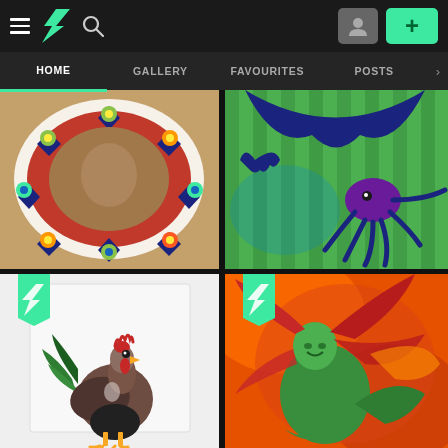[Figure (screenshot): DeviantArt mobile app interface showing top navigation bar with hamburger menu, DeviantArt logo, search icon, profile button, and green plus button]
[Figure (screenshot): Secondary navigation bar with HOME (active, underlined green), GALLERY, FAVOURITES, POSTS tabs]
[Figure (photo): Top-left gallery image: colorful mandala-style artwork with red, green, yellow, blue swirls on tan/brown background]
[Figure (photo): Top-right gallery image: green textile artwork with dark blue bat/manta ray silhouette and purple octopus]
[Figure (photo): Bottom-left gallery image: photo of a rooster/chicken on white background with DeviantArt green bookmark badge]
[Figure (illustration): Bottom-right gallery image: fantasy digital painting of a green-clad female figure with flowing red hair in orange/red swirling background, DeviantArt green bookmark badge]